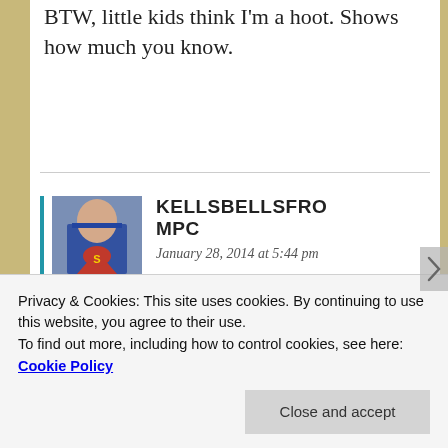BTW, little kids think I'm a hoot. Shows how much you know.
KELLSBELLSFROMPC
January 28, 2014 at 5:44 pm
I'm quite sure I visited that church before you as my girlfriend in 7th grade was a member.
Privacy & Cookies: This site uses cookies. By continuing to use this website, you agree to their use.
To find out more, including how to control cookies, see here: Cookie Policy
Close and accept